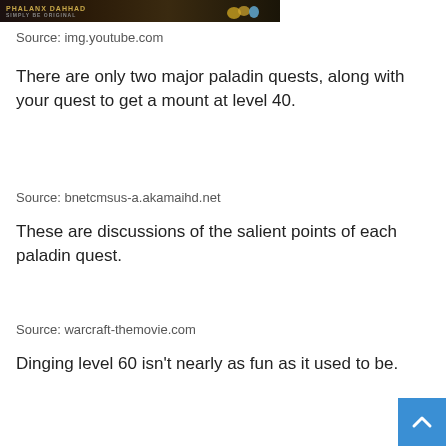[Figure (photo): Banner image with dark background showing Phalanx Dahhad logo text and golden decorative elements]
Source: img.youtube.com
There are only two major paladin quests, along with your quest to get a mount at level 40.
Source: bnetcmsus-a.akamaihd.net
These are discussions of the salient points of each paladin quest.
Source: warcraft-themovie.com
Dinging level 60 isn't nearly as fun as it used to be.